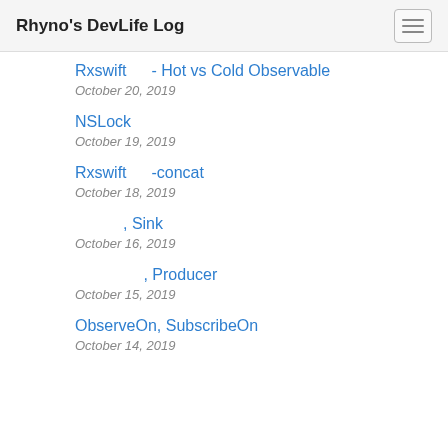Rhyno's DevLife Log
Rxswift　　- Hot vs Cold Observable
October 20, 2019
NSLock
October 19, 2019
Rxswift　　-concat
October 18, 2019
, Sink
October 16, 2019
, Producer
October 15, 2019
ObserveOn, SubscribeOn
October 14, 2019